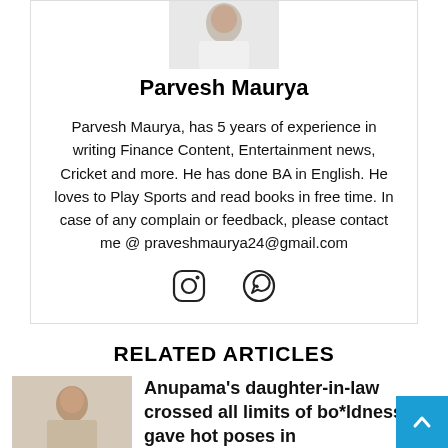[Figure (photo): Author photo of Parvesh Maurya, partially cropped at top, wearing white]
Parvesh Maurya
Parvesh Maurya, has 5 years of experience in writing Finance Content, Entertainment news, Cricket and more. He has done BA in English. He loves to Play Sports and read books in free time. In case of any complain or feedback, please contact me @ praveshmaurya24@gmail.com
[Figure (illustration): Instagram and WhatsApp social media icons]
RELATED ARTICLES
[Figure (photo): Thumbnail image of a woman for related article about Anupama's daughter-in-law]
Anupama's daughter-in-law crossed all limits of bo*ldness, gave hot poses in